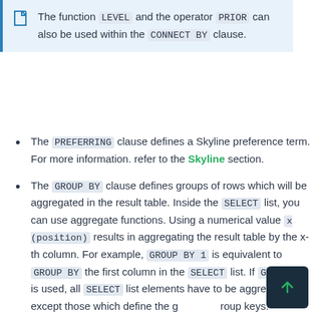The function LEVEL and the operator PRIOR can also be used within the CONNECT BY clause.
The PREFERRING clause defines a Skyline preference term. For more information. refer to the Skyline section.
The GROUP BY clause defines groups of rows which will be aggregated in the result table. Inside the SELECT list, you can use aggregate functions. Using a numerical value x (position) results in aggregating the result table by the x-th column. For example, GROUP BY 1 is equivalent to GROUP BY the first column in the SELECT list. If GROUP BY is used, all SELECT list elements have to be aggregated except those which define the group keys.
CUBE, ROLLUP, and GROUPING SETS are extensions of the GROUP BY clause for...